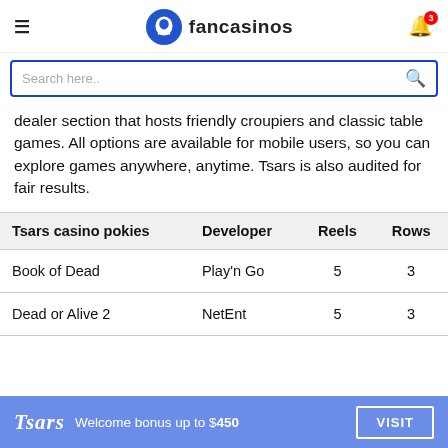fancasinos
dealer section that hosts friendly croupiers and classic table games. All options are available for mobile users, so you can explore games anywhere, anytime. Tsars is also audited for fair results.
| Tsars casino pokies | Developer | Reels | Rows |
| --- | --- | --- | --- |
| Book of Dead | Play'n Go | 5 | 3 |
| Dead or Alive 2 | NetEnt | 5 | 3 |
Tsars Welcome bonus up to $450  VISIT